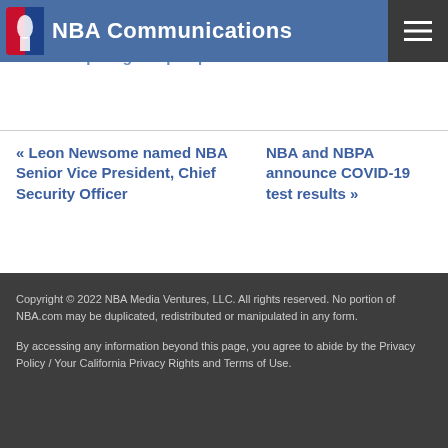NBA Communications
Warriors at Nuggets postponed
Heat at Spurs game postponed
« Leon Newsome named NBA Senior Vice President, Chief Security Officer
NBA and NBPA announce COVID-19 test results »
Copyright © 2022 NBA Media Ventures, LLC. All rights reserved. No portion of NBA.com may be duplicated, redistributed or manipulated in any form.

By accessing any information beyond this page, you agree to abide by the Privacy Policy / Your California Privacy Rights and Terms of Use.